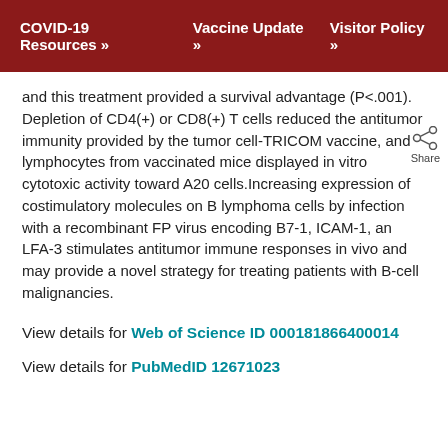COVID-19 Resources »   Vaccine Update »   Visitor Policy »
and this treatment provided a survival advantage (P<.001). Depletion of CD4(+) or CD8(+) T cells reduced the antitumor immunity provided by the tumor cell-TRICOM vaccine, and lymphocytes from vaccinated mice displayed in vitro cytotoxic activity toward A20 cells.Increasing expression of costimulatory molecules on B lymphoma cells by infection with a recombinant FP virus encoding B7-1, ICAM-1, an LFA-3 stimulates antitumor immune responses in vivo and may provide a novel strategy for treating patients with B-cell malignancies.
View details for Web of Science ID 000181866400014
View details for PubMedID 12671023